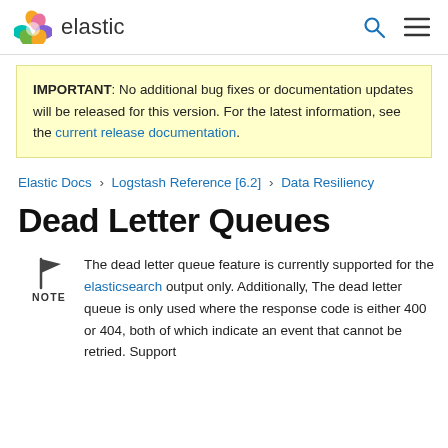elastic
IMPORTANT: No additional bug fixes or documentation updates will be released for this version. For the latest information, see the current release documentation.
Elastic Docs › Logstash Reference [6.2] › Data Resiliency
Dead Letter Queues
NOTE: The dead letter queue feature is currently supported for the elasticsearch output only. Additionally, The dead letter queue is only used where the response code is either 400 or 404, both of which indicate an event that cannot be retried. Support